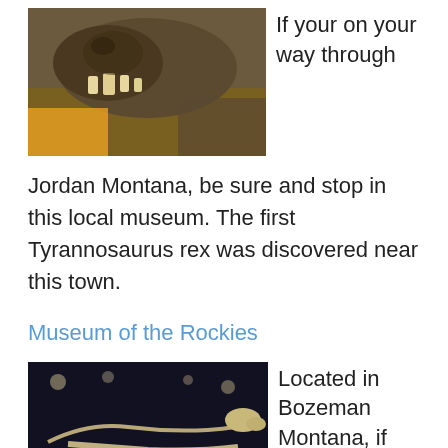[Figure (photo): Close-up photo of a Tyrannosaurus rex skull fossil with teeth visible, brownish/dark coloring, displayed in a museum setting with yellow background elements]
If your on your way through Jordan Montana, be sure and stop in this local museum. The first Tyrannosaurus rex was discovered near this town.
Museum of the Rockies
[Figure (photo): Museum display of a large dinosaur skeleton (sauropod/brachiosaurus type) mounted in a dark exhibition hall with lights, viewed from the side showing full skeleton on display stands]
Located in Bozeman Montana, if you are in the area, this is a must for viewing